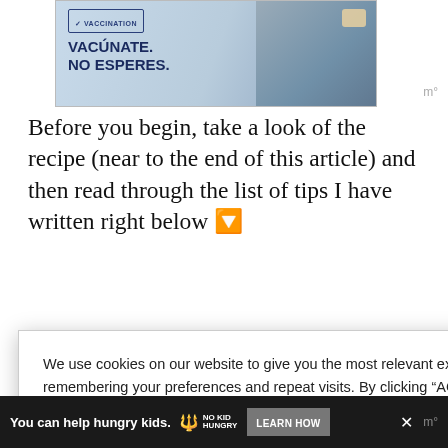[Figure (photo): Vaccination advertisement image showing a person's arm with a bandage after vaccination. Text reads 'VACCINATION' with badge icon, 'VACÚNATE. NO ESPERES.' in dark blue text on light blue background.]
Before you begin, take a look of the recipe (near to the end of this article) and then read through the list of tips I have written right below 🔽
We use cookies on our website to give you the most relevant experience by remembering your preferences and repeat visits. By clicking "ACCEPT ALL", you consent to the use of ALL the cookies. However, you may visit "Cookie Settings" to provide a controlled consent.
Cookie Settings
REJECT ALL
ACCEPT ALL
vithout
ler?
antastic
oastry is
e layers
r its
65
[Figure (screenshot): Bottom advertisement bar showing 'You can help hungry kids.' with No Kid Hungry logo and LEARN HOW button.]